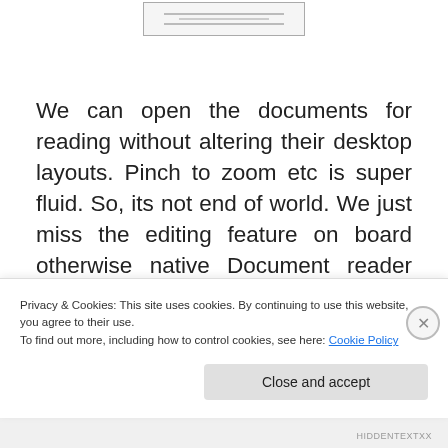[Figure (screenshot): Small box/image thumbnail at top center of page with horizontal lines suggesting document content]
We can open the documents for reading without altering their desktop layouts. Pinch to zoom etc is super fluid. So, its not end of world. We just miss the editing feature on board otherwise native Document reader does the task very well, when it comes to handling the documents for the purpose
Privacy & Cookies: This site uses cookies. By continuing to use this website, you agree to their use.
To find out more, including how to control cookies, see here: Cookie Policy
Close and accept